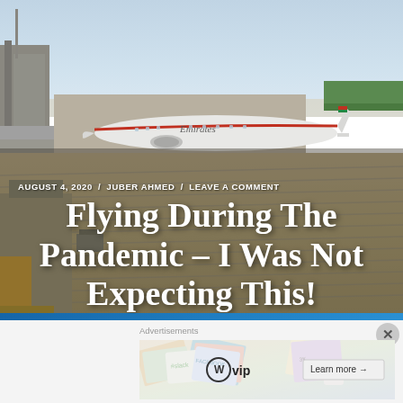[Figure (photo): Aerial/elevated view of Dubai airport tarmac with Emirates aircraft parked at gates, industrial buildings and structures visible, hazy sky overhead]
AUGUST 4, 2020 / JUBER AHMED / LEAVE A COMMENT
Flying During The Pandemic – I Was Not Expecting This!
[Figure (infographic): WordPress VIP advertisement banner with colorful card collage background showing social media brand cards (Slack, Facebook etc.) and a 'Learn more →' button]